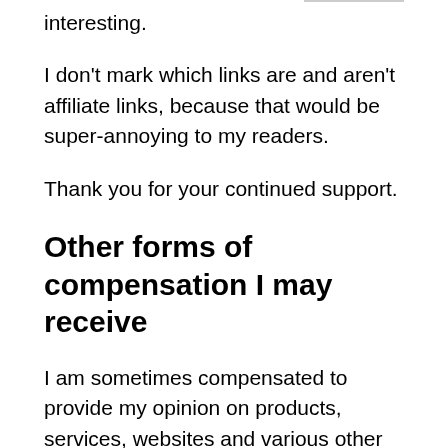interesting.
I don't mark which links are and aren't affiliate links, because that would be super-annoying to my readers.
Thank you for your continued support.
Other forms of compensation I may receive
I am sometimes compensated to provide my opinion on products, services, websites and various other topics. Even when I receive compensation for posts or advertisements, I